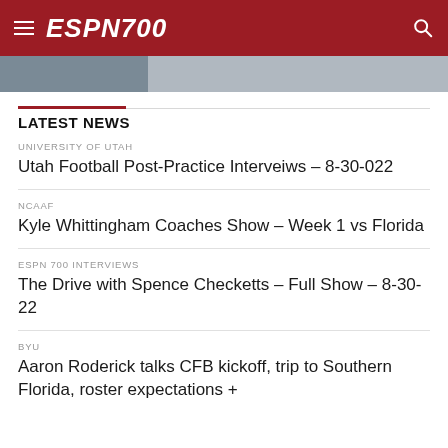ESPN700
[Figure (photo): Partial image strip visible below header]
LATEST NEWS
UNIVERSITY OF UTAH
Utah Football Post-Practice Interveiws – 8-30-022
NCAAF
Kyle Whittingham Coaches Show – Week 1 vs Florida
ESPN 700 INTERVIEWS
The Drive with Spence Checketts – Full Show – 8-30-22
BYU
Aaron Roderick talks CFB kickoff, trip to Southern Florida, roster expectations +